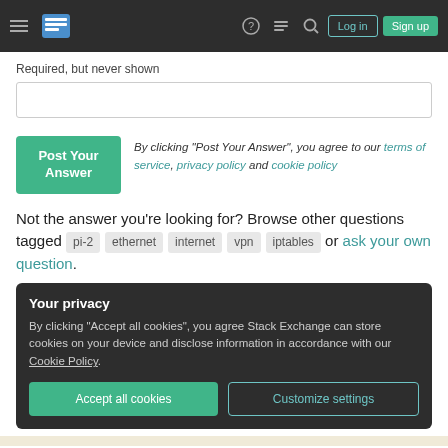Stack Exchange navigation header with Log in and Sign up buttons
Required, but never shown
Post Your Answer — By clicking “Post Your Answer”, you agree to our terms of service, privacy policy and cookie policy
Not the answer you’re looking for? Browse other questions tagged pi-2 ethernet internet vpn iptables or ask your own question.
Your privacy
By clicking “Accept all cookies”, you agree Stack Exchange can store cookies on your device and disclose information in accordance with our Cookie Policy.